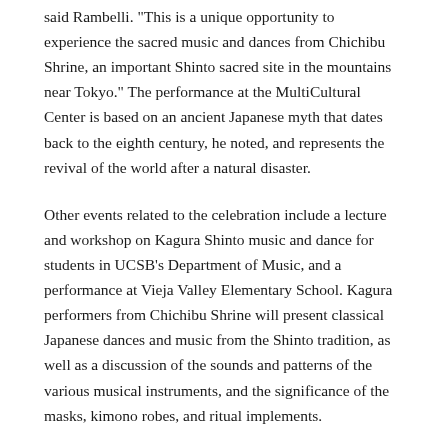said Rambelli. "This is a unique opportunity to experience the sacred music and dances from Chichibu Shrine, an important Shinto sacred site in the mountains near Tokyo." The performance at the MultiCultural Center is based on an ancient Japanese myth that dates back to the eighth century, he noted, and represents the revival of the world after a natural disaster.
Other events related to the celebration include a lecture and workshop on Kagura Shinto music and dance for students in UCSB's Department of Music, and a performance at Vieja Valley Elementary School. Kagura performers from Chichibu Shrine will present classical Japanese dances and music from the Shinto tradition, as well as a discussion of the sounds and patterns of the various musical instruments, and the significance of the masks, kimono robes, and ritual implements.